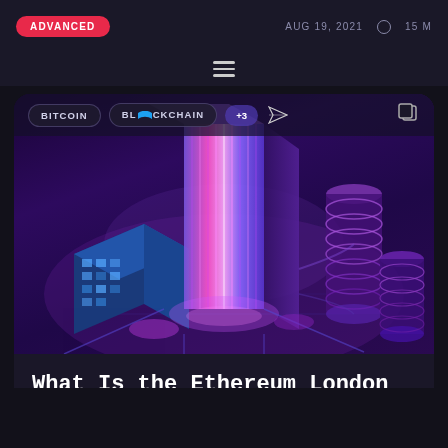ADVANCED   AUG 19, 2021   15 M
[Figure (illustration): Isometric blockchain city scene with glowing neon buildings, a tall central pink/blue skyscraper, blue grid-pattern building on the left, purple cylindrical stacks on the right, connected by glowing pathways on a dark purple background]
What Is the Ethereum London Hard Fork?
ADVANCED   AUG 14, 2021   15 M